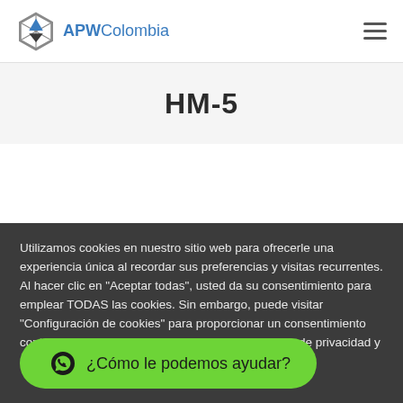[Figure (logo): APWColombia logo with hexagonal icon and text]
HM-5
Utilizamos cookies en nuestro sitio web para ofrecerle una experiencia única al recordar sus preferencias y visitas recurrentes. Al hacer clic en "Aceptar todas", usted da su consentimiento para emplear TODAS las cookies. Sin embargo, puede visitar "Configuración de cookies" para proporcionar un consentimiento controlado. Haga clic aquí para ver nuestra Política de privacidad y Política de cookies
¿Cómo le podemos ayudar?